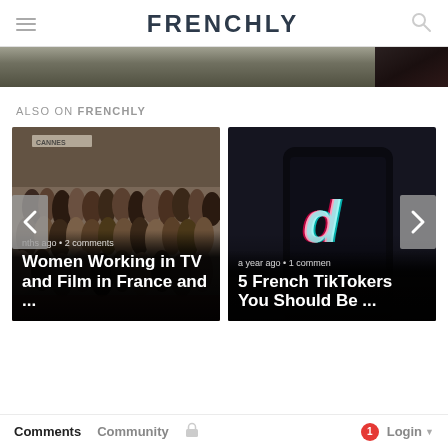FRENCHLY
[Figure (photo): Partial top strip showing two cropped images from a slider/carousel]
ALSO ON FRENCHLY
[Figure (photo): Article card: Women Working in TV and Film in France and ... — group photo at Cannes film festival, with text overlay showing 'nths ago • 2 comments']
[Figure (photo): Article card: 5 French TikTokers You Should Be ... — dark phone with TikTok logo, with text overlay showing 'a year ago • 1 commen']
Comments  Community  🔒  1  Login